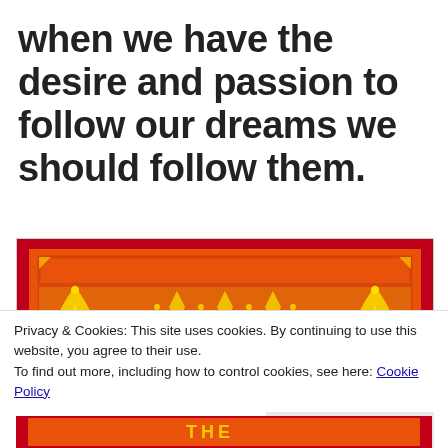when we have the desire and passion to follow our dreams we should follow them.
[Figure (illustration): Decorative red and orange illustration with yellow phoenix/bird motifs and diamond shapes on a bordered ornamental background, partially cropped.]
Privacy & Cookies: This site uses cookies. By continuing to use this website, you agree to their use.
To find out more, including how to control cookies, see here: Cookie Policy
Close and accept
[Figure (illustration): Bottom portion of the same decorative red/orange illustration, partially visible at the bottom of the page.]